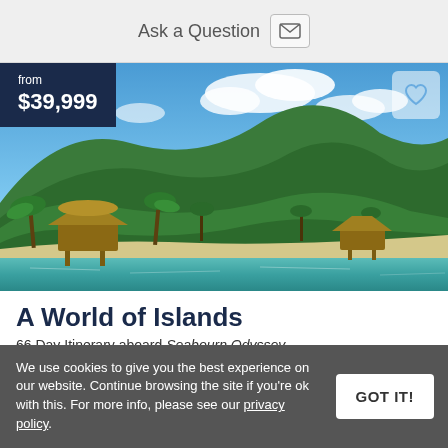Ask a Question
[Figure (photo): Tropical island scene with overwater bungalows, lush green mountains, white sand beach, and turquoise lagoon water. Price badge showing 'from $39,999' in dark navy overlay at top-left.]
A World of Islands
66 Day Itinerary aboard Seabourn Odyssey
Enjoy Maui's white-sand beaches
We use cookies to give you the best experience on our website. Continue browsing the site if you're ok with this. For more info, please see our privacy policy.